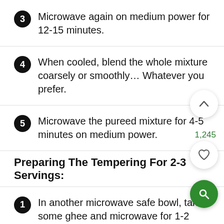3  Microwave again on medium power for 12-15 minutes.
4  When cooled, blend the whole mixture coarsely or smoothly… Whatever you prefer.
5  Microwave the pureed mixture for 4-5 minutes on medium power.
Preparing The Tempering For 2-3 Servings:
1  In another microwave safe bowl, take some ghee and microwave for 1-2 minutes.